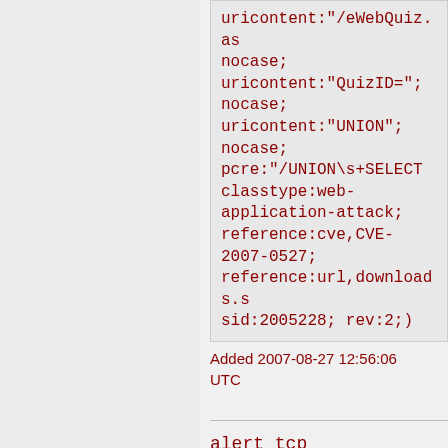uricontent:"/eWebQuiz.as nocase; uricontent:"QuizID="; nocase; uricontent:"UNION"; nocase; pcre:"/UNION\s+SELECT classtype:web-application-attack; reference:cve,CVE-2007-0527; reference:url,downloads.s sid:2005228; rev:2;)
Added 2007-08-27 12:56:06 UTC
alert tcp $EXTERNAL_NET any ->